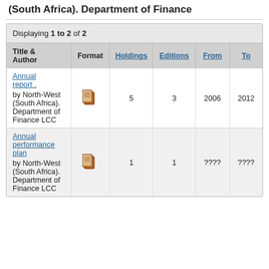(South Africa). Department of Finance
Displaying 1 to 2 of 2
| Title & Author | Format | Holdings | Editions | From | To |
| --- | --- | --- | --- | --- | --- |
| Annual report .
by North-West (South Africa). Department of Finance LCC | [icon] | 5 | 3 | 2006 | 2012 |
| Annual performance plan
by North-West (South Africa). Department of Finance LCC | [icon] | 1 | 1 | ???? | ???? |